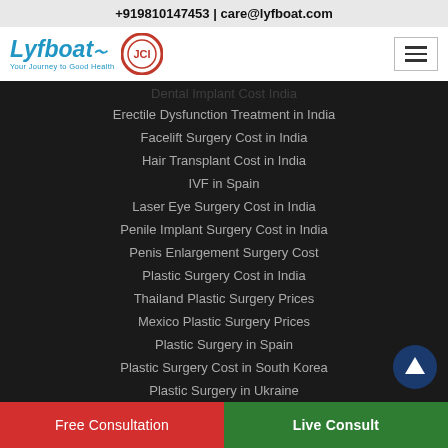+919810147453 | care@lyfboat.com
[Figure (logo): Lyfboat logo with tagline 'Your Journey to Good Health' and a circular badge icon, plus hamburger menu]
Dental Implant Cost India (partially visible)
Erectile Dysfunction Treatment in India
Facelift Surgery Cost in India
Hair Transplant Cost in India
IVF in Spain
Laser Eye Surgery Cost in India
Penile Implant Surgery Cost in India
Penis Enlargement Surgery Cost
Plastic Surgery Cost in India
Thailand Plastic Surgery Prices
Mexico Plastic Surgery Prices
Plastic Surgery in Spain
Plastic Surgery Cost in South Korea
Plastic Surgery in Ukraine
Rhinoplasty Cost in India
Free Consultation
Live Consult